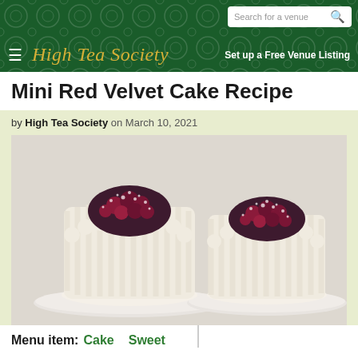High Tea Society — Search for a venue — Set up a Free Venue Listing
Mini Red Velvet Cake Recipe
by High Tea Society on March 10, 2021
[Figure (photo): Two mini red velvet cakes with white frosting piped in vertical ridges, topped with red berry compote and powdered sugar, served on white plates against a light background.]
Menu item: Cake Sweet